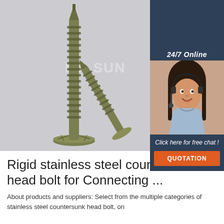[Figure (photo): Close-up photo of two olive/khaki colored stainless steel countersunk head self-drilling screws with visible threading. One screw is standing upright, the other lying at an angle. MACSUN watermark visible in background.]
[Figure (photo): Chat widget overlay showing '24/7 Online' label, a female customer service agent wearing a headset and smiling, 'Click here for free chat!' text, and an orange QUOTATION button. Dark blue/slate background.]
Rigid stainless steel countersunk head bolt for Connecting ...
About products and suppliers: Select from the multiple categories of stainless steel countersunk head bolt, on